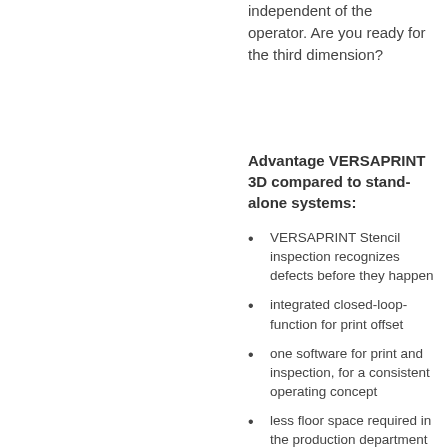independent of the operator. Are you ready for the third dimension?
Advantage VERSAPRINT 3D compared to stand-alone systems:
VERSAPRINT Stencil inspection recognizes defects before they happen
integrated closed-loop-function for print offset
one software for print and inspection, for a consistent operating concept
less floor space required in the production department